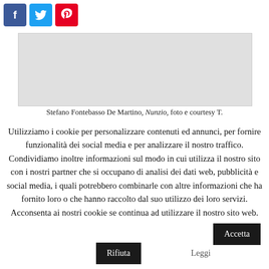[Figure (other): Social media share buttons: Facebook (blue), Twitter (light blue), Pinterest (red)]
[Figure (photo): Light gray placeholder image area]
Stefano Fontebasso De Martino, Nunzio, foto e courtesy T.
Utilizziamo i cookie per personalizzare contenuti ed annunci, per fornire funzionalità dei social media e per analizzare il nostro traffico. Condividiamo inoltre informazioni sul modo in cui utilizza il nostro sito con i nostri partner che si occupano di analisi dei dati web, pubblicità e social media, i quali potrebbero combinarle con altre informazioni che ha fornito loro o che hanno raccolto dal suo utilizzo dei loro servizi. Acconsenta ai nostri cookie se continua ad utilizzare il nostro sito web.
Accetta
Rifiuta
Leggi